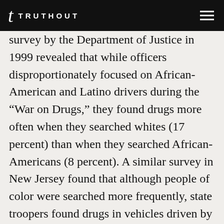TRUTHOUT
survey by the Department of Justice in 1999 revealed that while officers disproportionately focused on African-American and Latino drivers during the “War on Drugs,” they found drugs more often when they searched whites (17 percent) than when they searched African-Americans (8 percent). A similar survey in New Jersey found that although people of color were searched more frequently, state troopers found drugs in vehicles driven by whites 25 percent of the time, by African-Americans 13 percent and by Latinos 5 percent. For example of For